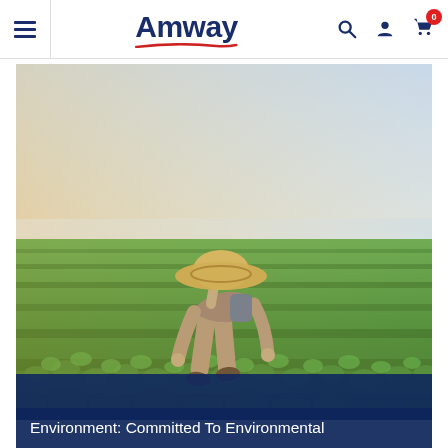Amway navigation bar with hamburger menu, Amway logo, search, account, and cart icons
[Figure (photo): A farmer wearing a straw hat bending over to tend green crops in a field with warm golden sunlight in the background and misty horizon]
Environment: Committed To Environmental